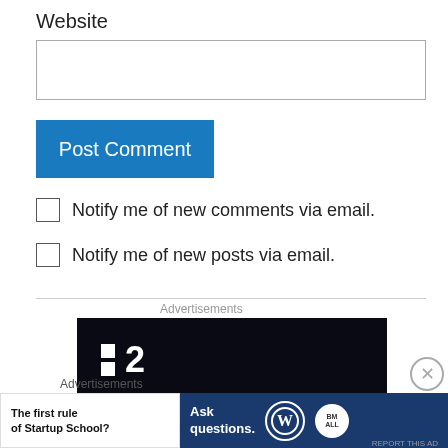Website
[Figure (screenshot): Empty text input box for website URL]
[Figure (screenshot): Blue 'Post Comment' button]
Notify me of new comments via email.
Notify me of new posts via email.
Advertisements
[Figure (screenshot): Dark advertisement banner with white squares and number 2 logo (theme or plugin branding)]
Advertisements
[Figure (screenshot): Bottom advertisement banner: left white panel with text 'The first rule of Startup School?', right dark blue panel with 'Ask questions.' and WordPress and circular logos]